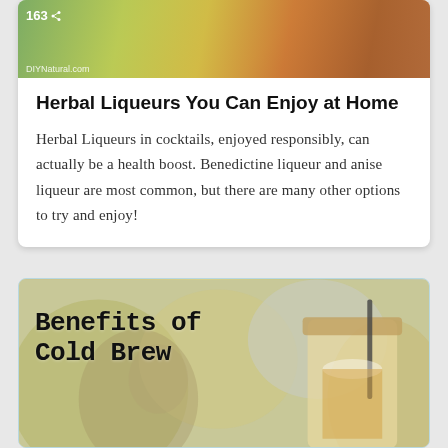[Figure (photo): Top portion of a card showing colorful drinks or food items with a share badge showing 163 and DIYNatural.com watermark]
Herbal Liqueurs You Can Enjoy at Home
Herbal Liqueurs in cocktails, enjoyed responsibly, can actually be a health boost. Benedictine liqueur and anise liqueur are most common, but there are many other options to try and enjoy!
[Figure (photo): Photo of cold brew coffee in a mason jar with a straw, blurred kettle in background, overlaid with text 'Benefits of Cold Brew' in monospace font and 'Coffee' in italic script below]